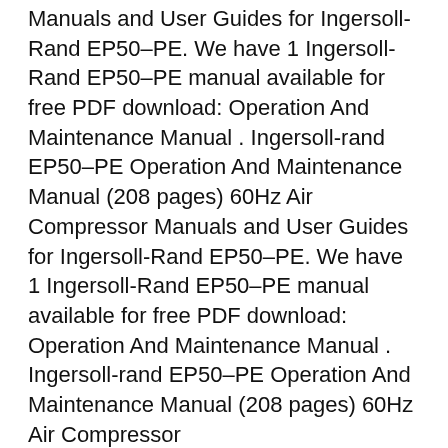Manuals and User Guides for Ingersoll-Rand EP50–PE. We have 1 Ingersoll-Rand EP50–PE manual available for free PDF download: Operation And Maintenance Manual . Ingersoll-rand EP50–PE Operation And Maintenance Manual (208 pages) 60Hz Air Compressor Manuals and User Guides for Ingersoll-Rand EP50–PE. We have 1 Ingersoll-Rand EP50–PE manual available for free PDF download: Operation And Maintenance Manual . Ingersoll-rand EP50–PE Operation And Maintenance Manual (208 pages) 60Hz Air Compressor
part list manual for your compressor ingersoll rand ssr ep50se manual de